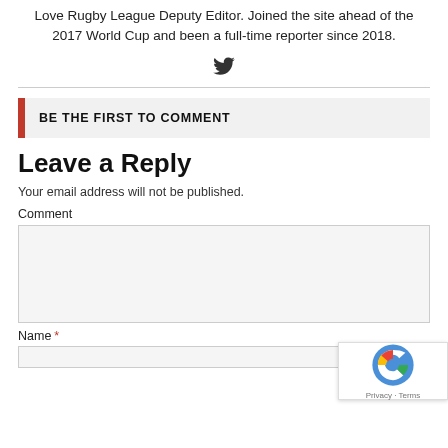Love Rugby League Deputy Editor. Joined the site ahead of the 2017 World Cup and been a full-time reporter since 2018.
[Figure (illustration): Twitter bird icon]
BE THE FIRST TO COMMENT
Leave a Reply
Your email address will not be published.
Comment
Name *